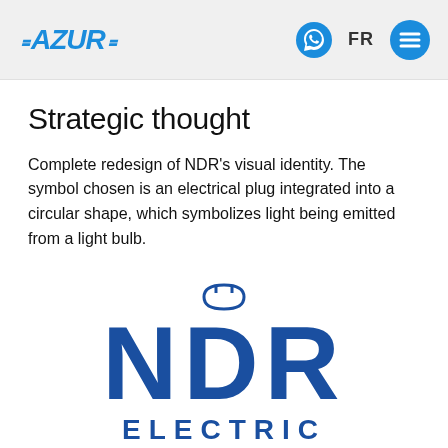AZURA | FR
Strategic thought
Complete redesign of NDR's visual identity. The symbol chosen is an electrical plug integrated into a circular shape, which symbolizes light being emitted from a light bulb.
[Figure (logo): NDR Electric logo with a plug-in-circle symbol above large bold letters NDR and ELECTRIC below]